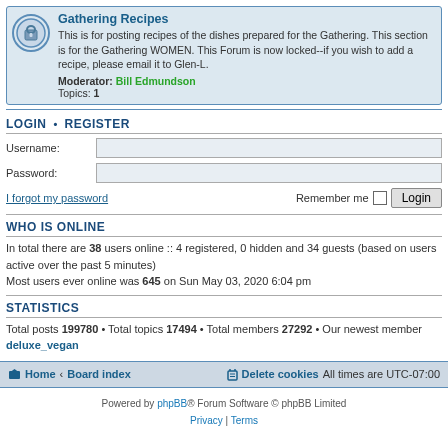Gathering Recipes
This is for posting recipes of the dishes prepared for the Gathering. This section is for the Gathering WOMEN. This Forum is now locked--if you wish to add a recipe, please email it to Glen-L.
Moderator: Bill Edmundson
Topics: 1
LOGIN • REGISTER
Username:
Password:
I forgot my password
Remember me  Login
WHO IS ONLINE
In total there are 38 users online :: 4 registered, 0 hidden and 34 guests (based on users active over the past 5 minutes)
Most users ever online was 645 on Sun May 03, 2020 6:04 pm
STATISTICS
Total posts 199780 • Total topics 17494 • Total members 27292 • Our newest member deluxe_vegan
Home · Board index    Delete cookies   All times are UTC-07:00
Powered by phpBB® Forum Software © phpBB Limited
Privacy | Terms